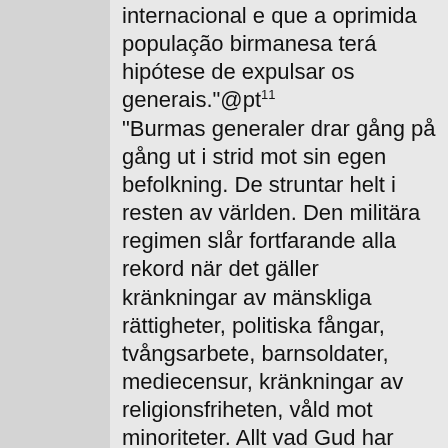internacional e que a oprimida população birmanesa terá hipótese de expulsar os generais."@pt¹¹ "Burmas generaler drar gång på gång ut i strid mot sin egen befolkning. De struntar helt i resten av världen. Den militära regimen slår fortfarande alla rekord när det gäller kränkningar av mänskliga rättigheter, politiska fångar, tvångsarbete, barnsoldater, mediecensur, kränkningar av religionsfriheten, våld mot minoriteter. Allt vad Gud har förbjudit sker i Burma. Europeiska unionen måste vid fastställandet av en gemensam ståndpunkt tala i klarspråk. Det är hög tid för generalerna att villkorslöst frige de 1 200 politiska fångarna som under erbarmliga omständigheter sitter fängslade och torteras. Dessutom måste rådet och kommissionen agera kraftigt emot de